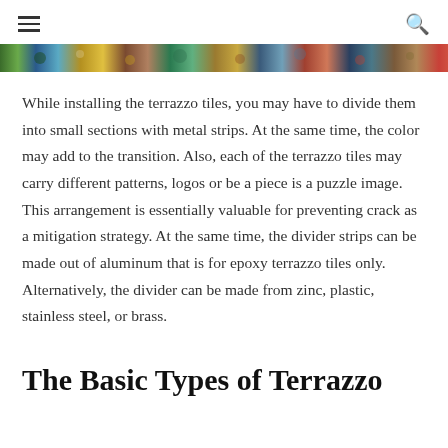[Figure (photo): A horizontal strip showing a colorful mosaic of terrazzo tile patterns with various colors including greens, blues, yellows, and reds.]
While installing the terrazzo tiles, you may have to divide them into small sections with metal strips. At the same time, the color may add to the transition. Also, each of the terrazzo tiles may carry different patterns, logos or be a piece is a puzzle image. This arrangement is essentially valuable for preventing crack as a mitigation strategy. At the same time, the divider strips can be made out of aluminum that is for epoxy terrazzo tiles only. Alternatively, the divider can be made from zinc, plastic, stainless steel, or brass.
The Basic Types of Terrazzo